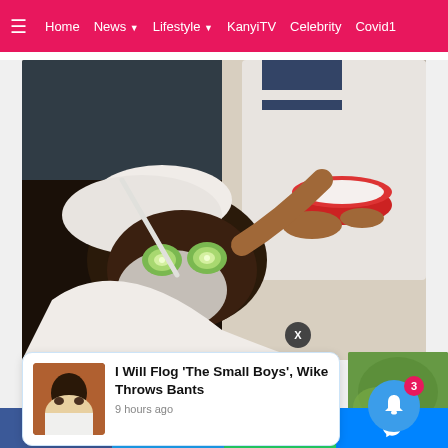≡  Home  News ▾  Lifestyle ▾  KanyiTV  Celebrity  Covid1
[Figure (photo): A woman receiving a facial treatment at a spa, lying down with cucumber slices on her eyes and white cream mask applied to her face. A practitioner in a white coat holds a red bowl and applies treatment with a brush.]
I Will Flog 'The Small Boys', Wike Throws Bants
9 hours ago